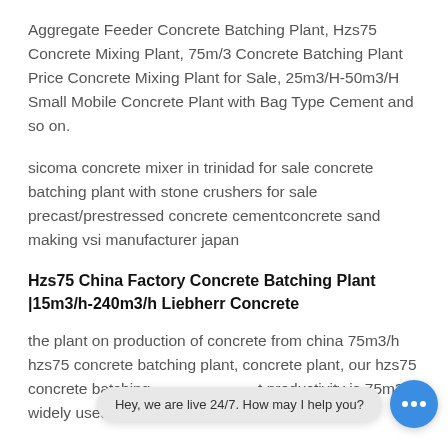Aggregate Feeder Concrete Batching Plant, Hzs75 Concrete Mixing Plant, 75m/3 Concrete Batching Plant Price Concrete Mixing Plant for Sale, 25m3/H-50m3/H Small Mobile Concrete Plant with Bag Type Cement and so on.
sicoma concrete mixer in trinidad for sale concrete batching plant with stone crushers for sale precast/prestressed concrete cementconcrete sand making vsi manufacturer japan
Hzs75 China Factory Concrete Batching Plant |15m3/h-240m3/h Liebherr Concrete
the plant on production of concrete from china 75m3/h hzs75 concrete batching plant, concrete plant, our hzs75 concrete batching ... .t productivity is 75m3/h widely used in highway chinese